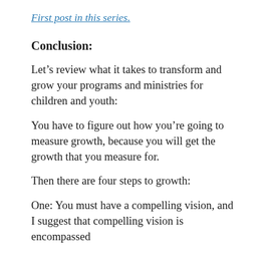First post in this series.
Conclusion:
Let’s review what it takes to transform and grow your programs and ministries for children and youth:
You have to figure out how you’re going to measure growth, because you will get the growth that you measure for.
Then there are four steps to growth:
One: You must have a compelling vision, and I suggest that compelling vision is encompassed